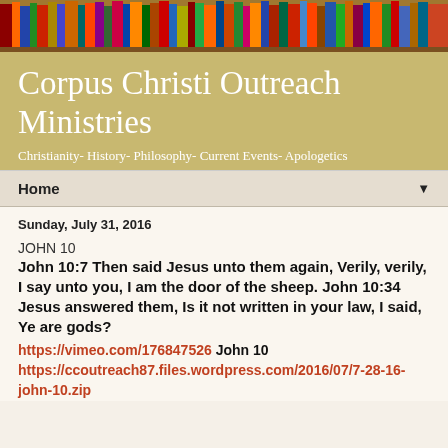[Figure (photo): Colorful bookshelf with books of various colors across the top of the page]
Corpus Christi Outreach Ministries
Christianity- History- Philosophy- Current Events- Apologetics
Home ▼
Sunday, July 31, 2016
JOHN 10
John 10:7 Then said Jesus unto them again, Verily, verily, I say unto you, I am the door of the sheep. John 10:34 Jesus answered them, Is it not written in your law, I said, Ye are gods?
https://vimeo.com/176847526  John 10 https://ccoutreach87.files.wordpress.com/2016/07/7-28-16-john-10.zip